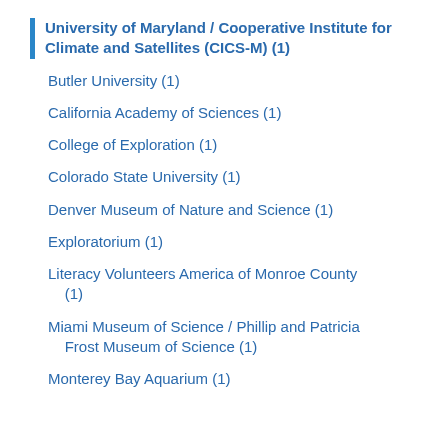University of Maryland / Cooperative Institute for Climate and Satellites (CICS-M) (1)
Butler University (1)
California Academy of Sciences (1)
College of Exploration (1)
Colorado State University (1)
Denver Museum of Nature and Science (1)
Exploratorium (1)
Literacy Volunteers America of Monroe County (1)
Miami Museum of Science / Phillip and Patricia Frost Museum of Science (1)
Monterey Bay Aquarium (1)